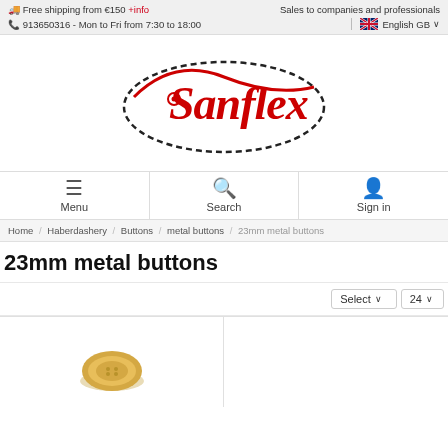🚚 Free shipping from €150 +info    Sales to companies and professionals
📞 913650316 - Mon to Fri from 7:30 to 18:00    English GB
[Figure (logo): Sanflex logo — red cursive text on white background with oval dashed outline]
Menu    Search    Sign in
Home / Haberdashery / Buttons / metal buttons / 23mm metal buttons
23mm metal buttons
Select ∨    24 ∨
[Figure (photo): Product photo - 23mm metal button, gold/brass colored]
[Figure (photo): Product photo - 23mm metal button, second item]